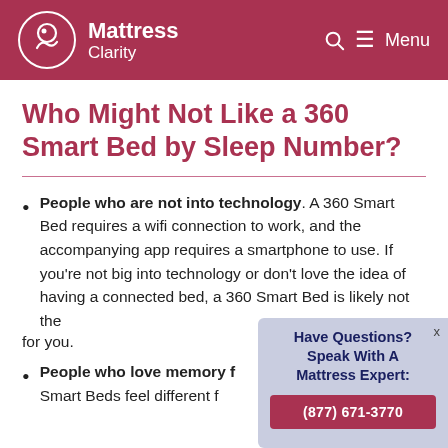Mattress Clarity — Menu
Who Might Not Like a 360 Smart Bed by Sleep Number?
People who are not into technology. A 360 Smart Bed requires a wifi connection to work, and the accompanying app requires a smartphone to use. If you're not big into technology or don't love the idea of having a connected bed, a 360 Smart Bed is likely not the right fit for you.
People who love memory f[oam]. Smart Beds feel different f[rom] traditional memory foam.